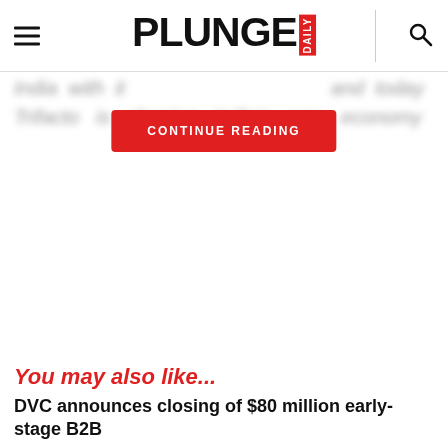PLUNGE DAILY
India with it and today Trifacto is shaping India's new economy by
CONTINUE READING
You may also like...
DVC announces closing of $80 million early-stage B2B